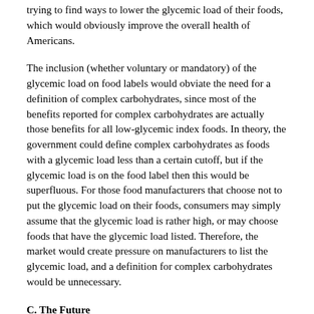trying to find ways to lower the glycemic load of their foods, which would obviously improve the overall health of Americans.
The inclusion (whether voluntary or mandatory) of the glycemic load on food labels would obviate the need for a definition of complex carbohydrates, since most of the benefits reported for complex carbohydrates are actually those benefits for all low-glycemic index foods. In theory, the government could define complex carbohydrates as foods with a glycemic load less than a certain cutoff, but if the glycemic load is on the food label then this would be superfluous. For those food manufacturers that choose not to put the glycemic load on their foods, consumers may simply assume that the glycemic load is rather high, or may choose foods that have the glycemic load listed. Therefore, the market would create pressure on manufacturers to list the glycemic load, and a definition for complex carbohydrates would be unnecessary.
C. The Future
The health of the country is at stake. Americans are getting fatter than ever, and yet the government seems to be ignoring information that virtually every nutritionist and American dieter “knows” to be true. If the government’s